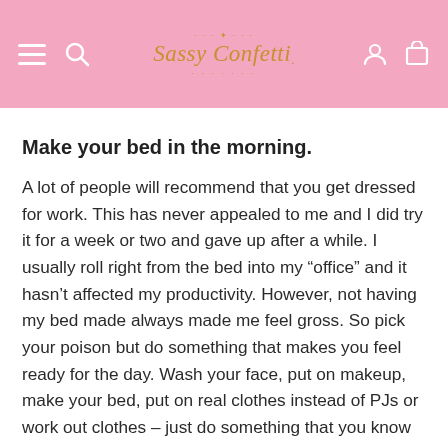Sassy Confetti
Make your bed in the morning.
A lot of people will recommend that you get dressed for work. This has never appealed to me and I did try it for a week or two and gave up after a while. I usually roll right from the bed into my “office” and it hasn’t affected my productivity. However, not having my bed made always made me feel gross. So pick your poison but do something that makes you feel ready for the day. Wash your face, put on makeup, make your bed, put on real clothes instead of PJs or work out clothes – just do something that you know will make you feel